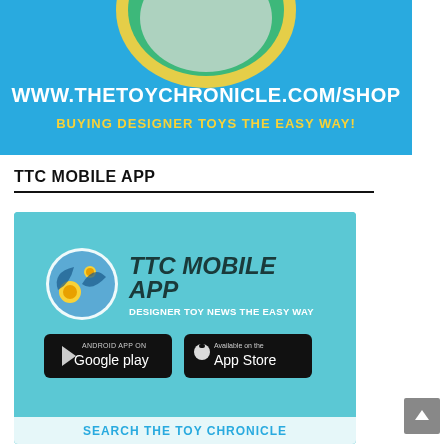[Figure (illustration): Blue banner advertisement for www.thetoychronicle.com/shop with circular graphic at top and yellow tagline 'BUYING DESIGNER TOYS THE EASY WAY!']
TTC MOBILE APP
[Figure (infographic): Light blue TTC Mobile App advertisement banner with app icon, title 'TTC MOBILE APP', subtitle 'DESIGNER TOY NEWS THE EASY WAY', Google Play and App Store buttons, and footer text 'SEARCH THE TOY CHRONICLE']